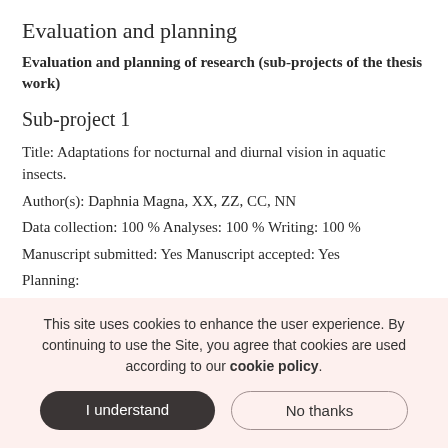Evaluation and planning
Evaluation and planning of research (sub-projects of the thesis work)
Sub-project 1
Title: Adaptations for nocturnal and diurnal vision in aquatic insects.
Author(s): Daphnia Magna, XX, ZZ, CC, NN
Data collection: 100 % Analyses: 100 % Writing: 100 %
Manuscript submitted: Yes Manuscript accepted: Yes
Planning:
This site uses cookies to enhance the user experience. By continuing to use the Site, you agree that cookies are used according to our cookie policy.
I understand
No thanks